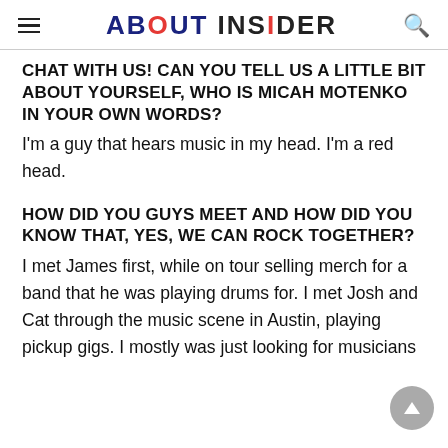ABOUT INSIDER
CHAT WITH US! CAN YOU TELL US A LITTLE BIT ABOUT YOURSELF, WHO IS MICAH MOTENKO IN YOUR OWN WORDS?
I'm a guy that hears music in my head. I'm a red head.
HOW DID YOU GUYS MEET AND HOW DID YOU KNOW THAT, YES, WE CAN ROCK TOGETHER?
I met James first, while on tour selling merch for a band that he was playing drums for. I met Josh and Cat through the music scene in Austin, playing pickup gigs. I mostly was just looking for musicians